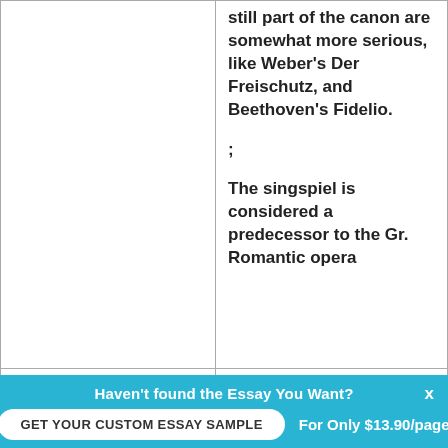still part of the canon are somewhat more serious, like Weber's Der Freischutz, and Beethoven's Fidelio.
;
The singspiel is considered a predecessor to the Gr. Romantic opera
| Solo Song | In the 18th c., the rise of the middle class caused an |
Haven't found the Essay You Want?
GET YOUR CUSTOM ESSAY SAMPLE
For Only $13.90/page